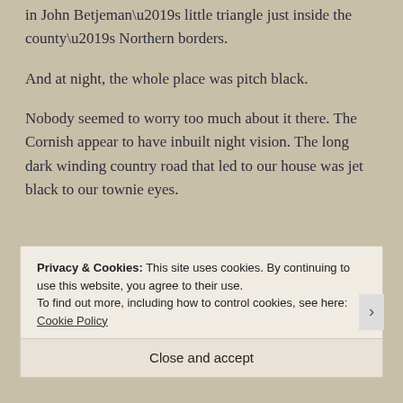in John Betjeman’s little triangle just inside the county’s Northern borders.
And at night, the whole place was pitch black.
Nobody seemed to worry too much about it there. The Cornish appear to have inbuilt night vision. The long dark winding country road that led to our house was jet black to our townie eyes.
Privacy & Cookies: This site uses cookies. By continuing to use this website, you agree to their use.
To find out more, including how to control cookies, see here: Cookie Policy
Close and accept